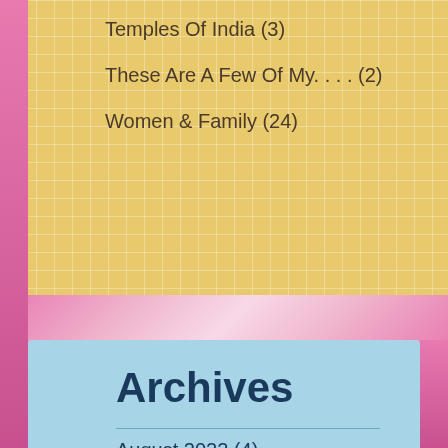Temples Of India (3)
These Are A Few Of My. . . . (2)
Women & Family (24)
Archives
August 2022 (4)
July 2022 (11)
June 2022 (6)
May 2022 (8)
April 2022 (8)